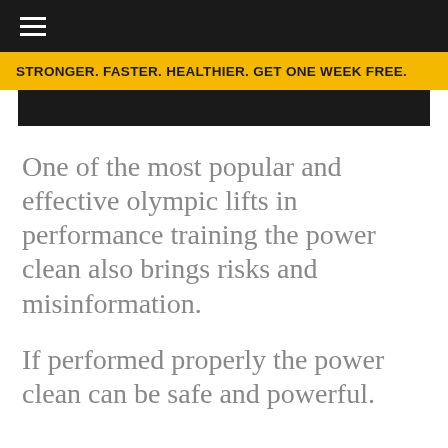≡
STRONGER. FASTER. HEALTHIER. GET ONE WEEK FREE.
One of the most popular and effective olympic lifts in performance training the power clean also brings risks and misinformation.
If performed properly the power clean can be safe and powerful.